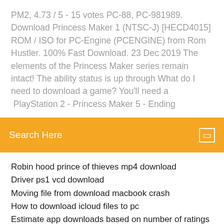PM2, 4.73 / 5 - 15 votes PC-88, PC-981989. Download Princess Maker 1 (NTSC-J) [HECD4015] ROM / ISO for PC-Engine (PCENGINE) from Rom Hustler. 100% Fast Download. 23 Dec 2019 The elements of the Princess Maker series remain intact! The ability status is up through What do I need to download a game? You'll need a  PlayStation 2 - Princess Maker 5 - Ending
Search Here
Robin hood prince of thieves mp4 download
Driver ps1 vcd download
Moving file from download macbook crash
How to download icloud files to pc
Estimate app downloads based on number of ratings
Torrent download durrells s03e01
Project x love potion disaster download android
Ue boom 2 drivers windows 10 free download
Download latest version of norton security scan